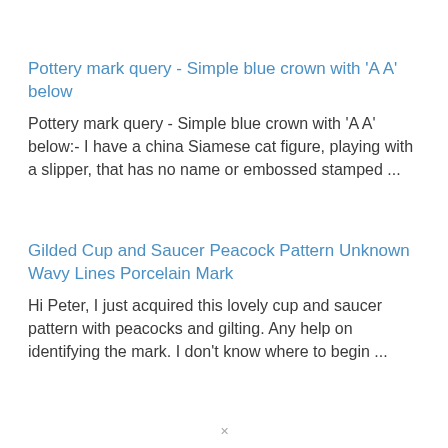Pottery mark query - Simple blue crown with 'A A' below
Pottery mark query - Simple blue crown with 'A A' below:- I have a china Siamese cat figure, playing with a slipper, that has no name or embossed stamped ...
Gilded Cup and Saucer Peacock Pattern Unknown Wavy Lines Porcelain Mark
Hi Peter, I just acquired this lovely cup and saucer pattern with peacocks and gilting. Any help on identifying the mark. I don't know where to begin ...